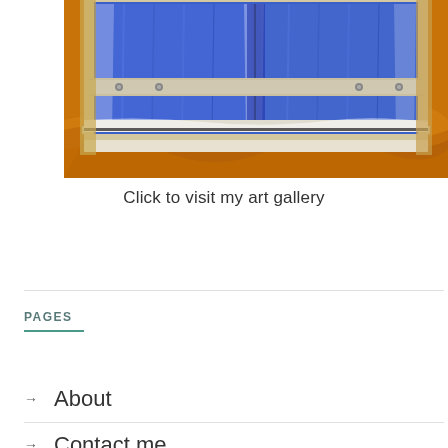[Figure (illustration): Painting of a blue wooden door/shutters set in an orange/golden textured wall, showing the lower portion of the door with a latch bar across it]
Click to visit my art gallery
PAGES
About
Contact me